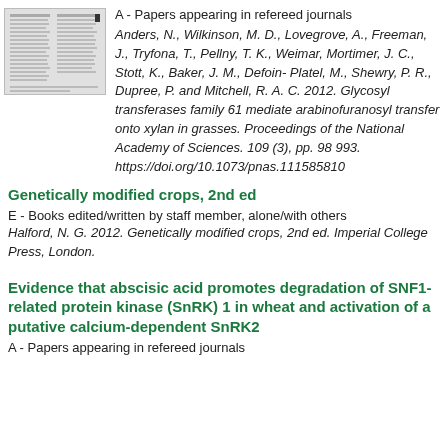[Figure (thumbnail): Small thumbnail image of a document page]
A - Papers appearing in refereed journals
Anders, N., Wilkinson, M. D., Lovegrove, A., Freeman, J., Tryfona, T., Pellny, T. K., Weimar, Mortimer, J. C., Stott, K., Baker, J. M., Defoin-Platel, M., Shewry, P. R., Dupree, P. and Mitchell, R. A. C. 2012. Glycosyl transferases family 61 mediate arabinofuranosyl transfer onto xylan in grasses. Proceedings of the National Academy of Sciences. 109 (3), pp. 98 993. https://doi.org/10.1073/pnas.111585810
Genetically modified crops, 2nd ed
E - Books edited/written by staff member, alone/with others
Halford, N. G. 2012. Genetically modified crops, 2nd ed. Imperial College Press, London.
Evidence that abscisic acid promotes degradation of SNF1-related protein kinase (SnRK) 1 in wheat and activation of a putative calcium-dependent SnRK2
A - Papers appearing in refereed journals